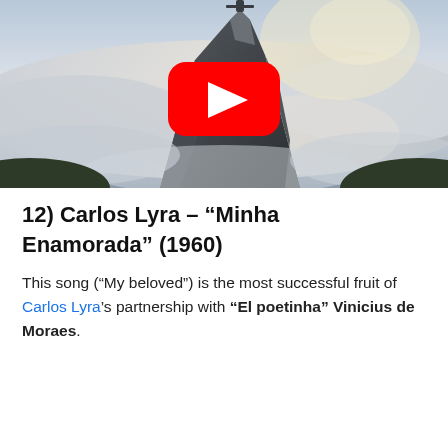[Figure (photo): Aerial photo of Christ the Redeemer on mountain peak above clouds, with a YouTube play button overlay in the center of the image.]
12) Carlos Lyra – “Minha Enamorada” (1960)
This song (“My beloved”) is the most successful fruit of Carlos Lyra’s partnership with “El poetinha” Vinicius de Moraes.